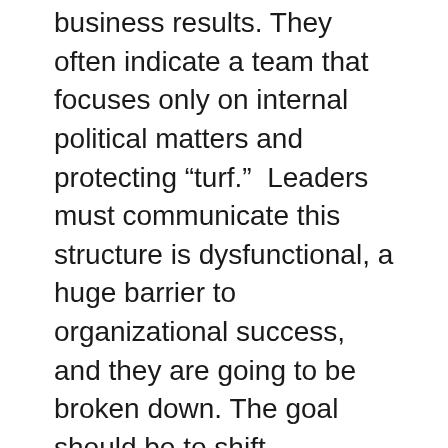business results. They often indicate a team that focuses only on internal political matters and protecting “turf.”  Leaders must communicate this structure is dysfunctional, a huge barrier to organizational success, and they are going to be broken down. The goal should be to shift everyone’s focus – including members of the senior team – to external customers, markets, threats, and opportunities.

“A siloed organization can’t act quickly or take advantage of opportunities,” writes Salesforce. “When information isn’t freely shared, your business can’t make informed